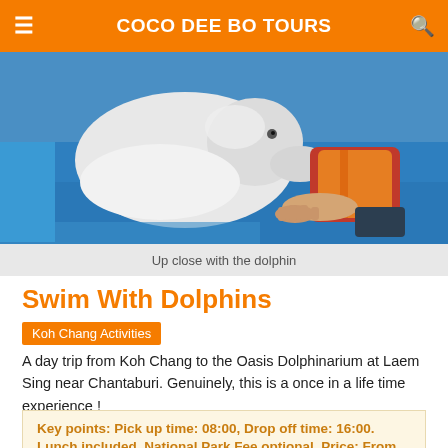COCO DEE BO TOURS
[Figure (photo): A person in an orange life vest lying close to a white beluga dolphin on a blue mat, at an aquatic facility.]
Up close with the dolphin
Swim With Dolphins
Koh Chang Activities
A day trip from Koh Chang to the Oasis Dolphinarium at Laem Sing near Chantaburi. Genuinely, this is a once in a life time experience !
Key points: Pick up time: 08:00, Drop off time: 16:00. Lunch included. National Park Fee optional. Price: From